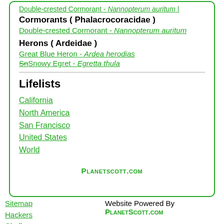Double-crested Cormorant - Nannopterum auritum (truncated link at top)
Cormorants ( Phalacrocoracidae )
Double-crested Cormorant - Nannopterum auritum
Herons ( Ardeidae )
Great Blue Heron - Ardea herodias
Snowy Egret - Egretta thula (partially visible/truncated)
Lifelists
California
North America
San Francisco
United States
World
PlanetScott.com
Sitemap  Hackers  Challenge  Contact  Website Powered By PlanetScott.com